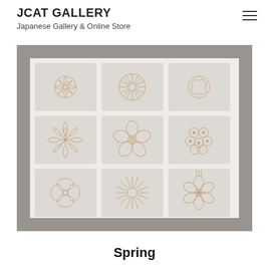JCAT GALLERY
Japanese Gallery & Online Store
[Figure (photo): Framed artwork with nine embroidered fabric tiles arranged in a 3x3 grid, each tile featuring a different Japanese floral motif embossed or embroidered in a pale rose-gold tone on light grey/silver fabric. The frame is grey wood. Top row: partial chrysanthemum/floral, chrysanthemum crest, floral. Middle row: peony, cherry blossom/plum blossom, hydrangea/small flowers. Bottom row: butterfly/four-petal flower, spiky chrysanthemum/sunburst, narcissus/six-petal flower.]
Spring